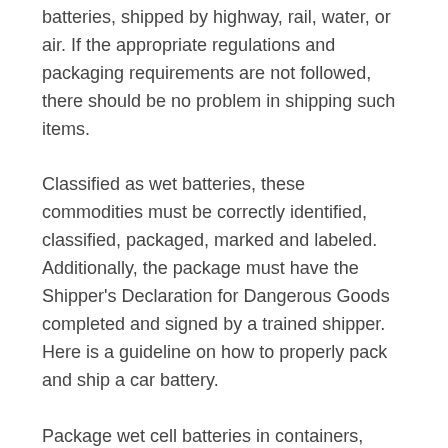batteries, shipped by highway, rail, water, or air. If the appropriate regulations and packaging requirements are not followed, there should be no problem in shipping such items.
Classified as wet batteries, these commodities must be correctly identified, classified, packaged, marked and labeled. Additionally, the package must have the Shipper's Declaration for Dangerous Goods completed and signed by a trained shipper. Here is a guideline on how to properly pack and ship a car battery.
Package wet cell batteries in containers, including metal containers, with acid/alkali leak-proof liner, sealed to prevent leakage.
Fasten batteries securely with fill openings and vents facing up to prevent short-circuiting or overheating.
Position multiple batteries side by side, separated by nonconductive dividers.